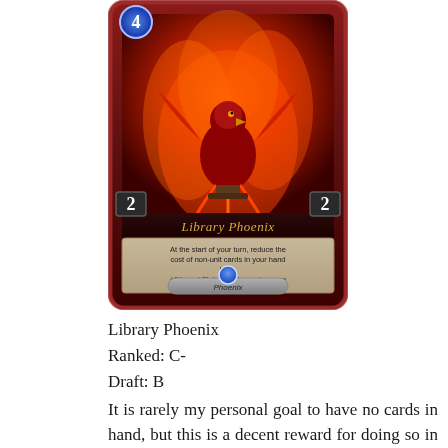[Figure (illustration): A collectible card game card showing 'Library Phoenix' — a red phoenix bird perched on a stand surrounded by flames. The card has a cost of 4 in the top-left (blue circle), attack 2 bottom-left, health 2 bottom-right, ornate dark red/brown frame, card name 'Library Phoenix' in golden text, card text describing its abilities, and 'Phoenix' as the card type at the bottom.]
Library Phoenix
Ranked: C-
Draft: B
It is rarely my personal goal to have no cards in hand, but this is a decent reward for doing so in draft and ranked. The most intriguing part of this